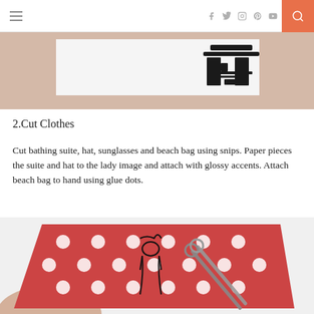navigation header with social icons and search
[Figure (photo): Close-up photo of hands cutting a black paper cutout figure against a white background using scissors]
2.Cut Clothes
Cut bathing suite, hat, sunglasses and beach bag using snips. Paper pieces the suite and hat to the lady image and attach with glossy accents. Attach beach bag to hand using glue dots.
[Figure (photo): Photo of a red polka-dot paper being cut by scissors, with a black outline drawing of a lady figure visible on the paper, and a hand holding the bottom of the paper]